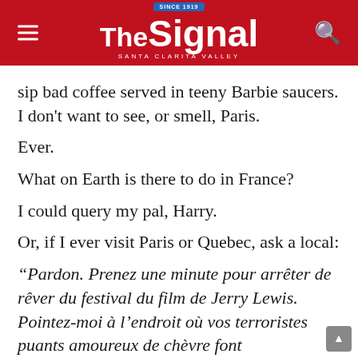The Signal — Santa Clarita Valley
sip bad coffee served in teeny Barbie saucers. I don't want to see, or smell, Paris.
Ever.
What on Earth is there to do in France?
I could query my pal, Harry.
Or, if I ever visit Paris or Quebec, ask a local:
“Pardon. Prenez une minute pour arrêter de rêver du festival du film de Jerry Lewis. Pointez-moi à l’endroit où vos terroristes puants amoureux de chèvre font